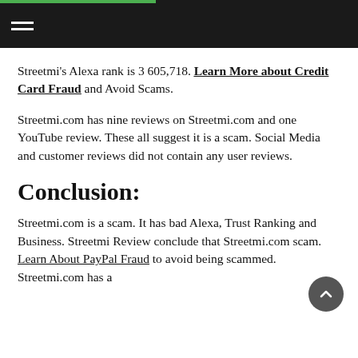Streetmi's Alexa rank is 3 605,718. Learn More about Credit Card Fraud and Avoid Scams.
Streetmi.com has nine reviews on Streetmi.com and one YouTube review. These all suggest it is a scam. Social Media and customer reviews did not contain any user reviews.
Conclusion:
Streetmi.com is a scam. It has bad Alexa, Trust Ranking and Business. Streetmi Review conclude that Streetmi.com scam. Learn About PayPal Fraud to avoid being scammed. Streetmi.com has a